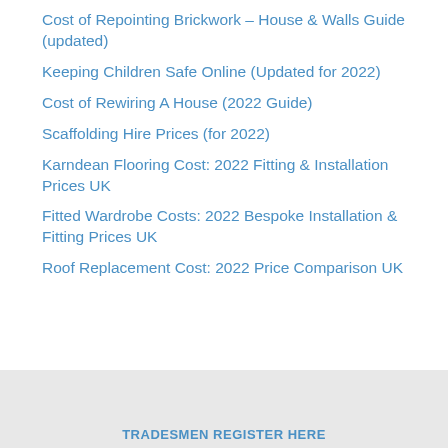Cost of Repointing Brickwork – House & Walls Guide (updated)
Keeping Children Safe Online (Updated for 2022)
Cost of Rewiring A House (2022 Guide)
Scaffolding Hire Prices (for 2022)
Karndean Flooring Cost: 2022 Fitting & Installation Prices UK
Fitted Wardrobe Costs: 2022 Bespoke Installation & Fitting Prices UK
Roof Replacement Cost: 2022 Price Comparison UK
TRADESMEN REGISTER HERE